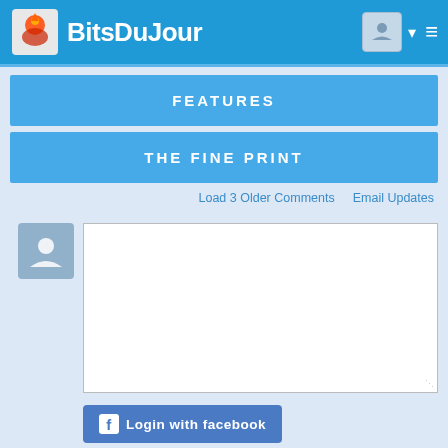BitsDuJour
FEATURES
THE FINE PRINT
Load 3 Older Comments   Email Updates
[Figure (screenshot): Comment text input area with user avatar icon on the left and a large empty white textarea on the right with a resize handle]
Login with facebook